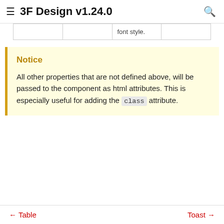3F Design v1.24.0
|  |  | font style. |  |
Notice

All other properties that are not defined above, will be passed to the component as html attributes. This is especially useful for adding the class attribute.
← Table    Toast →